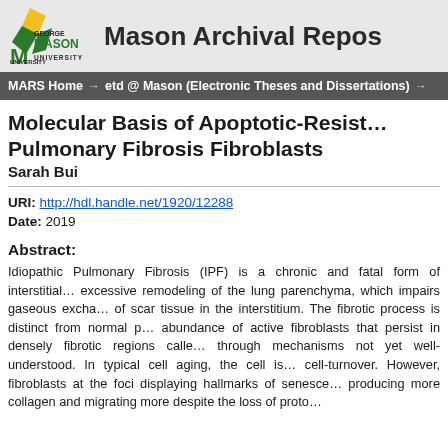[Figure (logo): George Mason University logo with green and yellow flame/leaf mark and GEORGE MASON UNIVERSITY text]
Mason Archival Repos
MARS Home → etd @ Mason (Electronic Theses and Dissertations) →
Molecular Basis of Apoptotic-Resist… Pulmonary Fibrosis Fibroblasts
Sarah Bui
URI: http://hdl.handle.net/1920/12288
Date: 2019
Abstract:
Idiopathic Pulmonary Fibrosis (IPF) is a chronic and fatal form of interstitial… excessive remodeling of the lung parenchyma, which impairs gaseous excha… of scar tissue in the interstitium. The fibrotic process is distinct from normal p… abundance of active fibroblasts that persist in densely fibrotic regions calle… through mechanisms not yet well-understood. In typical cell aging, the cell is… cell-turnover. However, fibroblasts at the foci displaying hallmarks of senesce… producing more collagen and migrating more despite the loss of proto…